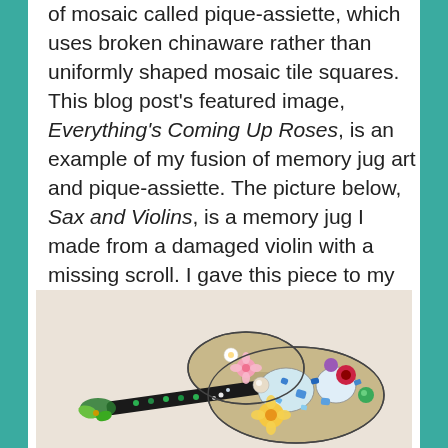of mosaic called pique-assiette, which uses broken chinaware rather than uniformly shaped mosaic tile squares. This blog post's featured image, Everything's Coming Up Roses, is an example of my fusion of memory jug art and pique-assiette. The picture below, Sax and Violins, is a memory jug I made from a damaged violin with a missing scroll. I gave this piece to my sister, a classical violinist, for her birthday. The tessera in this piece includes pique-assiette in hues of blue (my sister's favorite color) with Capodimonte bits and old costume jewelry.
[Figure (photo): A decorated violin covered in colorful mosaic pique-assiette pieces including flowers, costume jewelry, and broken chinaware in blues, yellows, reds and other colors, resting on a light fabric background.]